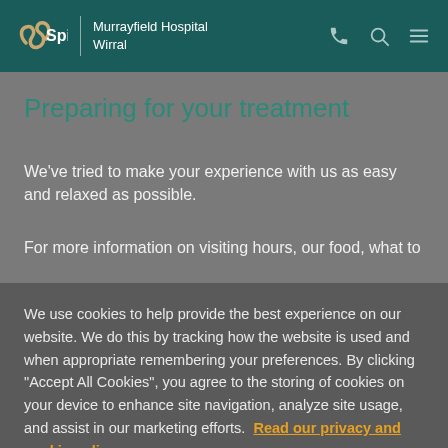Spire | Murrayfield Hospital Wirral
Preparing for your treatment
We've tried to make your experience with us as easy and relaxed as possible.
For more information on visiting hours, our food, what to
We use cookies to help provide the best experience on our website. We do this by tracking how the website is used and when appropriate remembering your preferences. By clicking "Accept All Cookies", you agree to the storing of cookies on your device to enhance site navigation, analyze site usage, and assist in our marketing efforts. Read our privacy and cookie policy
Cookies Settings
Accept All Cookies